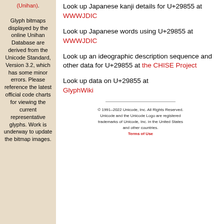(Unihan). Glyph bitmaps displayed by the online Unihan Database are derived from the Unicode Standard, Version 3.2, which has some minor errors. Please reference the latest official code charts for viewing the current representative glyphs. Work is underway to update the bitmap images.
Look up Japanese kanji details for U+29855 at WWWJDIC
Look up Japanese words using U+29855 at WWWJDIC
Look up an ideographic description sequence and other data for U+29855 at the CHISE Project
Look up data on U+29855 at GlyphWiki
© 1991-2022 Unicode, Inc. All Rights Reserved. Unicode and the Unicode Logo are registered trademarks of Unicode, Inc. in the United States and other countries. Terms of Use